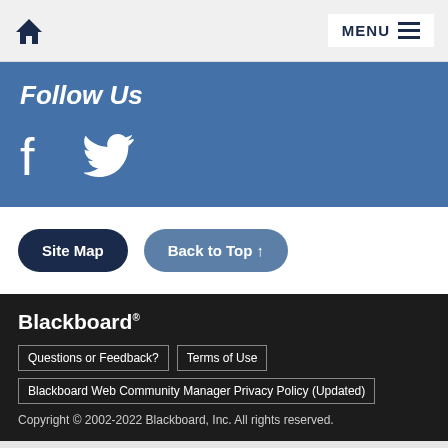Home | MENU
Follow Us
[Figure (illustration): Facebook and Twitter social media icons in white on blue background]
Site Map | Back to Top ↑
Blackboard®
Questions or Feedback? | Terms of Use
Blackboard Web Community Manager Privacy Policy (Updated)
Copyright © 2002-2022 Blackboard, Inc. All rights reserved.
View Full Site